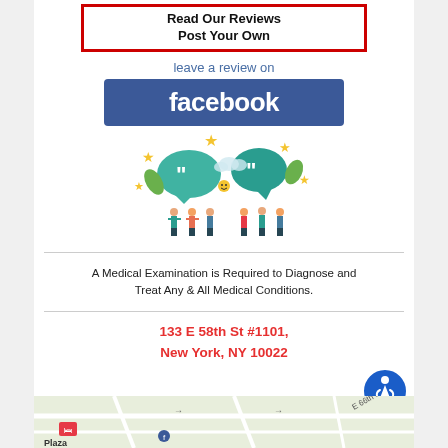[Figure (other): Red-bordered box with bold text: Read Our Reviews / Post Your Own]
leave a review on
[Figure (logo): Facebook logo — white bold text 'facebook' on blue background]
[Figure (illustration): Colorful illustration of people with speech bubbles, stars, quotation marks]
A Medical Examination is Required to Diagnose and Treat Any & All Medical Conditions.
133 E 58th St #1101, New York, NY 10022
[Figure (map): Street map snippet showing area near E 66th St, with plaza marker]